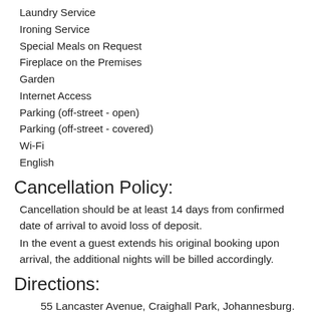Laundry Service
Ironing Service
Special Meals on Request
Fireplace on the Premises
Garden
Internet Access
Parking (off-street - open)
Parking (off-street - covered)
Wi-Fi
English
Cancellation Policy:
Cancellation should be at least 14 days from confirmed date of arrival to avoid loss of deposit.
In the event a guest extends his original booking upon arrival, the additional nights will be billed accordingly.
Directions:
55 Lancaster Avenue, Craighall Park, Johannesburg.